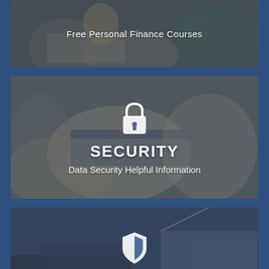[Figure (infographic): Card with blurred background image of person writing/studying at desk, with text overlay: Free Personal Finance Courses]
Free Personal Finance Courses
[Figure (infographic): Card with blurred background image of hands holding credit card, with lock icon, bold title SECURITY, and subtitle: Data Security Helpful Information]
SECURITY
Data Security Helpful Information
[Figure (infographic): Card with blurred background image of house and car, with shield icon, bold title INSURANCE GROUP, and subtitle: Serving Your Insurance Needs]
INSURANCE GROUP
Serving Your Insurance Needs